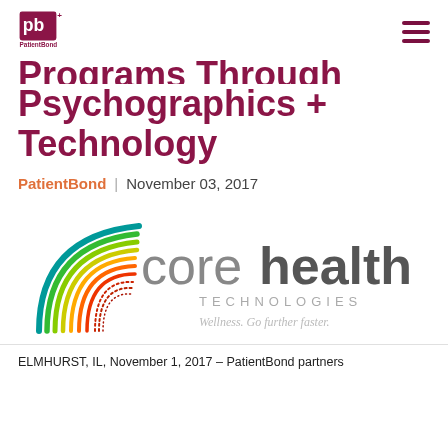PatientBond logo and navigation menu
Programs Through Psychographics + Technology
PatientBond | November 03, 2017
[Figure (logo): CoreHealth Technologies logo with colorful arc swoosh and tagline 'Wellness. Go further faster.']
ELMHURST, IL, November 1, 2017 – PatientBond partners